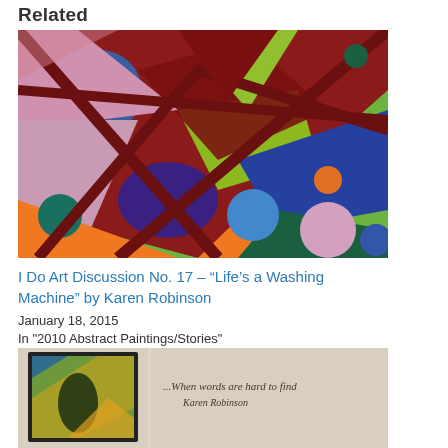Related
[Figure (illustration): Colorful abstract painting with geometric shapes — triangles, circles, curved forms in blue, orange, green, purple, red, pink on a bright background. Title artwork 'Life's a Washing Machine' by Karen Robinson.]
I Do Art Discussion No. 17 – “Life’s a Washing Machine” by Karen Robinson
January 18, 2015
In "2010 Abstract Paintings/Stories"
[Figure (photo): Gallery exhibition photo showing a framed colorful painting on a beige wall, with text on the wall reading '...When words are hard to find Karen Robinson']